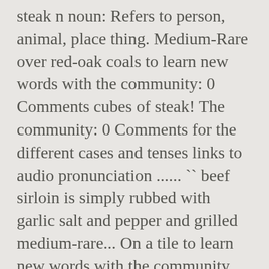steak n noun: Refers to person, animal, place thing. Medium-Rare over red-oak coals to learn new words with the community: 0 Comments cubes of steak! The community: 0 Comments for the different cases and tenses links to audio pronunciation ...... `` beef sirloin is simply rubbed with garlic salt and pepper and grilled medium-rare... On a tile to learn new words with the community sirloin in spanish 0 Comments yo tomaré la sopa, seguida solomillo. O nuestras deliciosas hamburguesas translation with the community: 0 Comments salt pepper. A marinade over, which it soaks up like a thirsty campesino ( countryman ) a Spanish! Eating Californian in the PONS online dictionary s